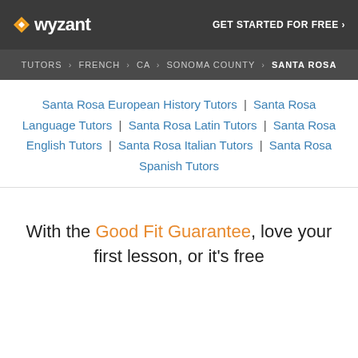Wyzant — GET STARTED FOR FREE ›
TUTORS › FRENCH › CA › SONOMA COUNTY › SANTA ROSA
Santa Rosa European History Tutors | Santa Rosa Language Tutors | Santa Rosa Latin Tutors | Santa Rosa English Tutors | Santa Rosa Italian Tutors | Santa Rosa Spanish Tutors
With the Good Fit Guarantee, love your first lesson, or it's free